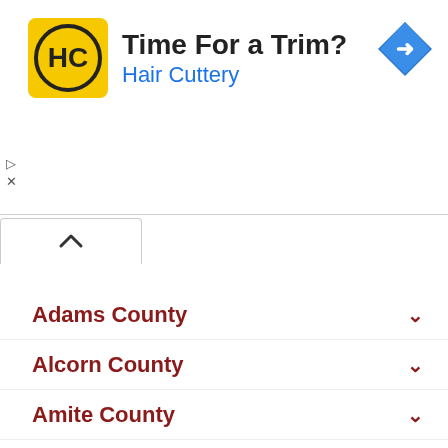[Figure (other): Hair Cuttery advertisement banner with logo, 'Time For a Trim?' headline, and navigation arrow icon]
Adams County
Alcorn County
Amite County
Attala County
Benton County
Bolivar County
Calhoun County
Carroll County
Chickasaw County